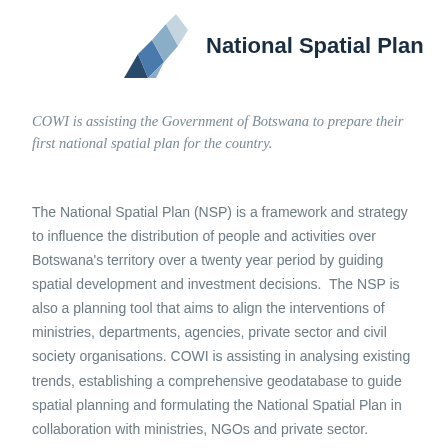[Figure (logo): COWI National Spatial Plan logo — geometric diamond/chevron shape in shades of blue and grey alongside bold dark navy text 'National Spatial Plan']
COWI is assisting the Government of Botswana to prepare their first national spatial plan for the country.
The National Spatial Plan (NSP) is a framework and strategy to influence the distribution of people and activities over Botswana's territory over a twenty year period by guiding spatial development and investment decisions.  The NSP is also a planning tool that aims to align the interventions of ministries, departments, agencies, private sector and civil society organisations. COWI is assisting in analysing existing trends, establishing a comprehensive geodatabase to guide spatial planning and formulating the National Spatial Plan in collaboration with ministries, NGOs and private sector.